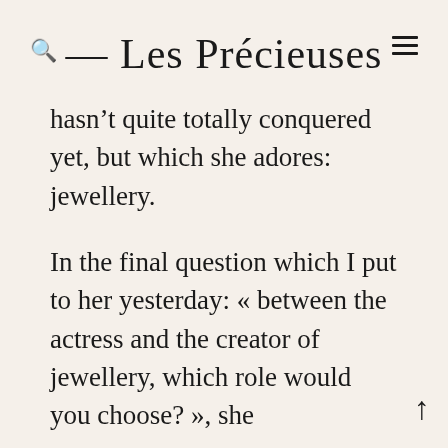— Les Précieuses
hasn't quite totally conquered yet, but which she adores: jewellery.
In the final question which I put to her yesterday: « between the actress and the creator of jewellery, which role would you choose? », she